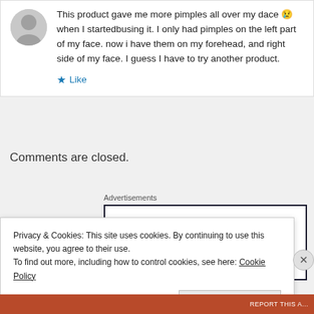This product gave me more pimples all over my dace 😢 when I startedbusing it. I only had pimples on the left part of my face. now i have them on my forehead, and right side of my face. I guess I have to try another product.
★ Like
Comments are closed.
Advertisements
[Figure (other): Advertisement placeholder box with dark border, empty white interior]
Privacy & Cookies: This site uses cookies. By continuing to use this website, you agree to their use.
To find out more, including how to control cookies, see here: Cookie Policy
Close and accept